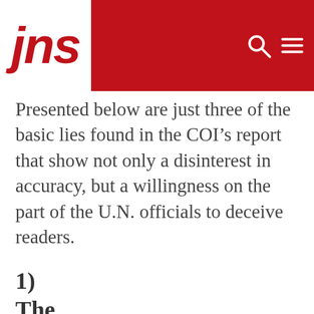jns
Presented below are just three of the basic lies found in the COI’s report that show not only a disinterest in accuracy, but a willingness on the part of the U.N. officials to deceive readers.
1) The COI